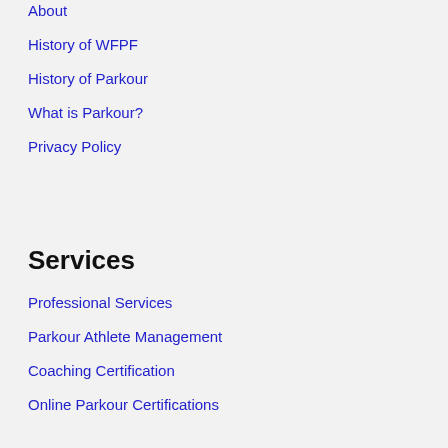About
History of WFPF
History of Parkour
What is Parkour?
Privacy Policy
Services
Professional Services
Parkour Athlete Management
Coaching Certification
Online Parkour Certifications